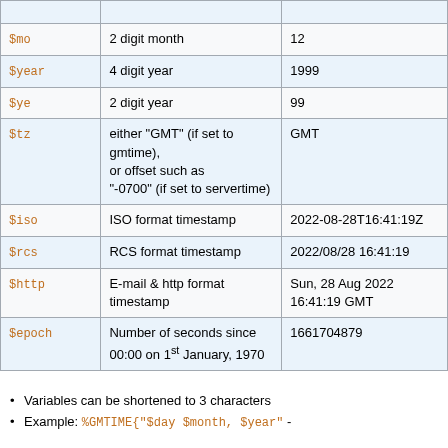| Variable | Description | Example |
| --- | --- | --- |
| $mo | 2 digit month | 12 |
| $year | 4 digit year | 1999 |
| $ye | 2 digit year | 99 |
| $tz | either "GMT" (if set to gmtime), or offset such as "-0700" (if set to servertime) | GMT |
| $iso | ISO format timestamp | 2022-08-28T16:41:19Z |
| $rcs | RCS format timestamp | 2022/08/28 16:41:19 |
| $http | E-mail & http format timestamp | Sun, 28 Aug 2022 16:41:19 GMT |
| $epoch | Number of seconds since 00:00 on 1st January, 1970 | 1661704879 |
Variables can be shortened to 3 characters
Example: %GMTIME{"$day $month, $year" -